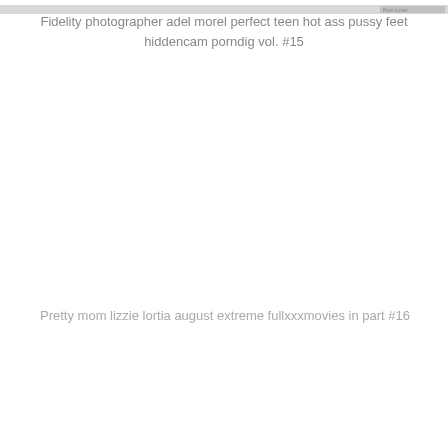[Figure (photo): Partial image strip at the top of the page, showing a cropped photo with a watermark reading 'Porn Lover' in the top right corner.]
Fidelity photographer adel morel perfect teen hot ass pussy feet hiddencam porndig vol. #15
Pretty mom lizzie lortia august extreme fullxxxmovies in part #16